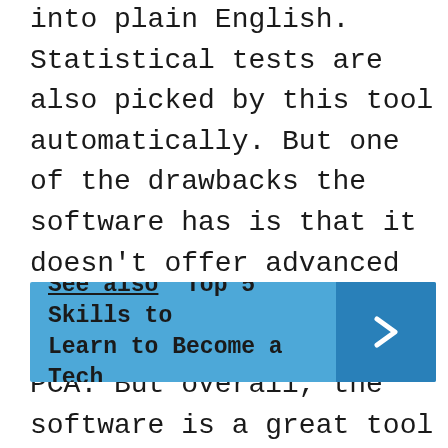into plain English. Statistical tests are also picked by this tool automatically. But one of the drawbacks the software has is that it doesn’t offer advanced analysis, such as survival analysis or PCA. But overall, the software is a great tool to have.
See also  Top 5 Skills to Learn to Become a Tech